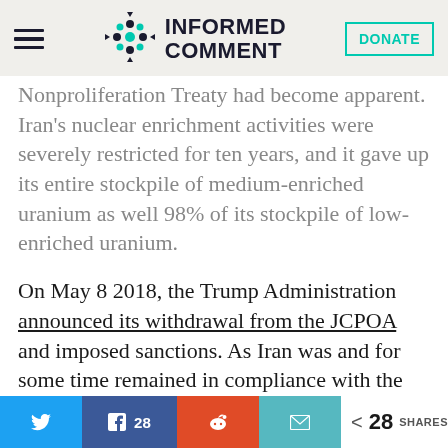[Figure (logo): Informed Comment logo with decorative dot grid icon and site name]
Nonproliferation Treaty had become apparent. Iran's nuclear enrichment activities were severely restricted for ten years, and it gave up its entire stockpile of medium-enriched uranium as well 98% of its stockpile of low-enriched uranium.
On May 8 2018, the Trump Administration announced its withdrawal from the JCPOA and imposed sanctions. As Iran was and for some time remained in compliance with the nuclear deal, there was nothing to achieve
[Figure (infographic): Social sharing bar with Twitter, Facebook (28), Reddit, Email buttons and share count of 28]